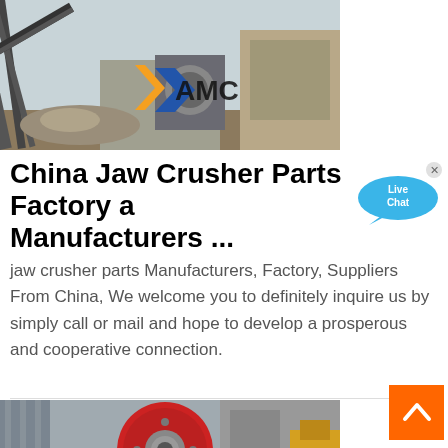[Figure (photo): Industrial jaw crusher plant with conveyor belts, metal structures, machinery and a large AMC logo overlay. Outdoor factory setting with stone/rock pile visible.]
China Jaw Crusher Parts Factory and Manufacturers ...
jaw crusher parts Manufacturers, Factory, Suppliers From China, We welcome you to definitely inquire us by simply call or mail and hope to develop a prosperous and cooperative connection.
[Figure (photo): Close-up of jaw crusher machinery showing a large red circular flywheel and industrial equipment structure.]